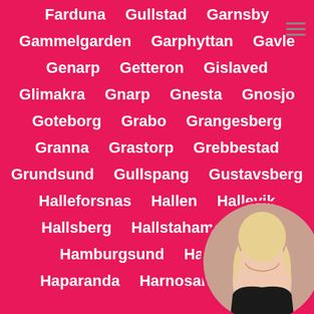Farduna  Gullstad  Garnsby
Gammelgarden  Garphyttan  Gavle
Genarp  Getteron  Gislaved
Glimakra  Gnarp  Gnesta  Gnosjo
Goteborg  Grabo  Grangesberg
Granna  Grastorp  Grebbestad
Grundsund  Gullspang  Gustavsberg
Halleforsnas  Hallen  Hallevik
Hallsberg  Hallstahammar  H...
Hamburgsund  Hammars...
Haparanda  Harnosand  Hary...
[Figure (photo): Circular profile photo of a blonde woman in the bottom-right corner, partially obscured by the edge of the page.]